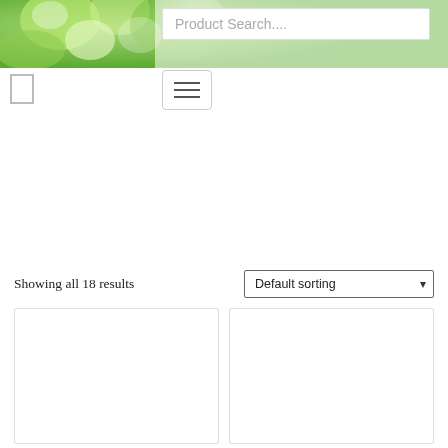[Figure (photo): Green leafy bokeh background image spanning top of page]
Product Search....
[Figure (other): Logo placeholder box]
[Figure (other): Hamburger menu button with three horizontal lines]
Showing all 18 results
Default sorting
[Figure (other): Product card placeholder 1]
[Figure (other): Product card placeholder 2]